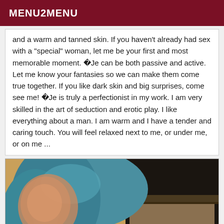MENU2MENU
and a warm and tanned skin. If you haven't already had sex with a "special" woman, let me be your first and most memorable moment. �Je can be both passive and active. Let me know your fantasies so we can make them come true together. If you like dark skin and big surprises, come see me! �Je is truly a perfectionist in my work. I am very skilled in the art of seduction and erotic play. I like everything about a man. I am warm and I have a tender and caring touch. You will feel relaxed next to me, or under me, or on me ...
[Figure (photo): Person with teal/blue hair, face blurred, against a warm tan/orange wall background with dark furniture visible on the right side]